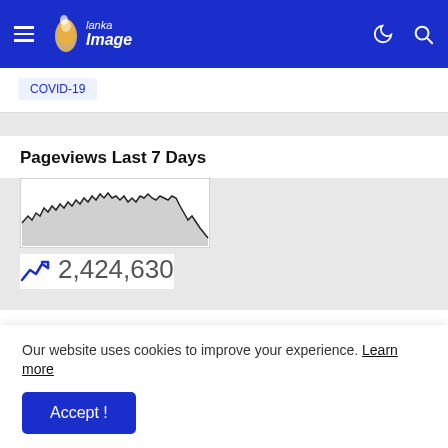Lanka Image - navigation bar with hamburger menu, logo, moon icon, search icon
COVID-19
Pageviews Last 7 Days
[Figure (continuous-plot): Small area/line chart showing pageview activity over 7 days, dense fluctuating line with grey fill]
2,424,630
Archives
Our website uses cookies to improve your experience. Learn more
Accept !